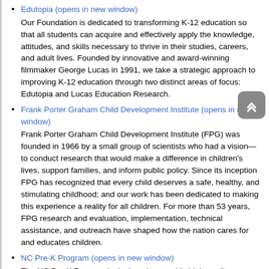Edutopia (opens in new window)
Our Foundation is dedicated to transforming K-12 education so that all students can acquire and effectively apply the knowledge, attitudes, and skills necessary to thrive in their studies, careers, and adult lives. Founded by innovative and award-winning filmmaker George Lucas in 1991, we take a strategic approach to improving K-12 education through two distinct areas of focus: Edutopia and Lucas Education Research.
Frank Porter Graham Child Development Institute (opens in new window)
Frank Porter Graham Child Development Institute (FPG) was founded in 1966 by a small group of scientists who had a vision—to conduct research that would make a difference in children's lives, support families, and inform public policy. Since its inception FPG has recognized that every child deserves a safe, healthy, and stimulating childhood; and our work has been dedicated to making this experience a reality for all children. For more than 53 years, FPG research and evaluation, implementation, technical assistance, and outreach have shaped how the nation cares for and educates children.
NC Pre-K Program (opens in new window)
The NC Pre-K Program is designed to provide high-quality educational